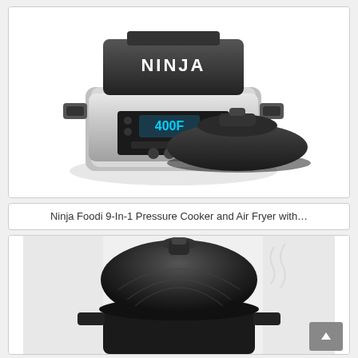[Figure (photo): Ninja Foodi 9-in-1 pressure cooker and air fryer appliance shown with the air fryer lid removed and placed beside the unit. The main unit is silver/black with a digital display showing 400F. The separate crisping lid is black and dome-shaped.]
Ninja Foodi 9-In-1 Pressure Cooker and Air Fryer with…
[Figure (photo): Close-up view of a black multi-cooker appliance with a dome-shaped crisping lid sitting on top, showing ridged/ribbed texture on the lid. The appliance body is black with handles on the sides.]